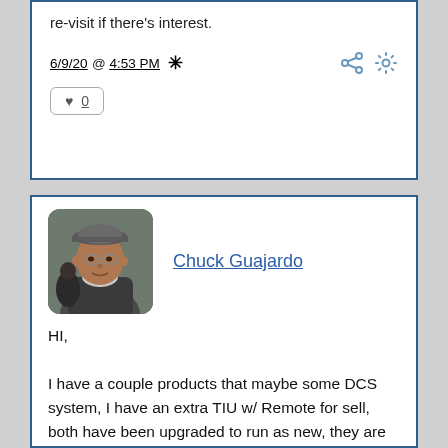re-visit if there's interest.
6/9/20 @ 4:53 PM *
0
Chuck Guajardo
[Figure (photo): Profile photo of Chuck Guajardo, a man wearing a cap, sitting in a car]
HI,

I have a couple products that maybe some DCS system, I have an extra TIU w/ Remote for sell, both have been upgraded to run as new, they are in very good condition. I can photo set soon... just wanna put this news out....